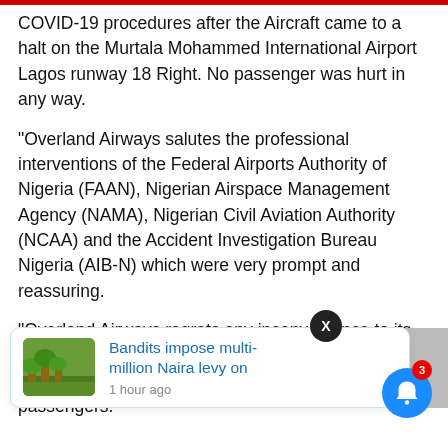COVID-19 procedures after the Aircraft came to a halt on the Murtala Mohammed International Airport Lagos runway 18 Right. No passenger was hurt in any way.
“Overland Airways salutes the professional interventions of the Federal Airports Authority of Nigeria (FAAN), Nigerian Airspace Management Agency (NAMA), Nigerian Civil Aviation Authority (NCAA) and the Accident Investigation Bureau Nigeria (AIB-N) which were very prompt and reassuring.
“Overland Airways regrets any inconvenience to its passengers and assures the travelling public of its full commitment to safety of its services and passengers.”
[Figure (screenshot): Notification card showing headline: Bandits impose multi-million Naira levy on, 1 hour ago, with a thumbnail of a field/farm scene]